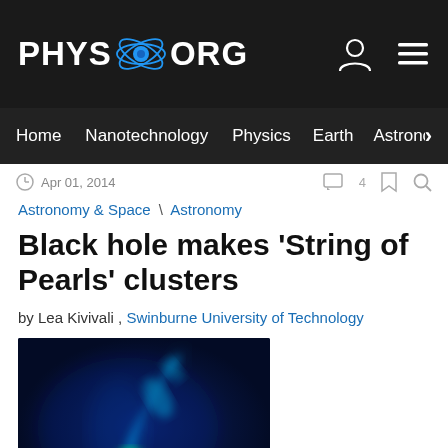PHYS.ORG
Home | Nanotechnology | Physics | Earth | Astronomy >
Apr 01, 2014   4
Astronomy & Space \ Astronomy
Black hole makes 'String of Pearls' clusters
by Lea Kivivali , Swinburne University of Technology
[Figure (photo): False-color astronomical image showing a jet or arc of bright cyan/blue emission with a bright green/yellow core, against a dark blue background. The image appears to be of a galaxy or black hole jet observed in X-ray or radio wavelengths.]